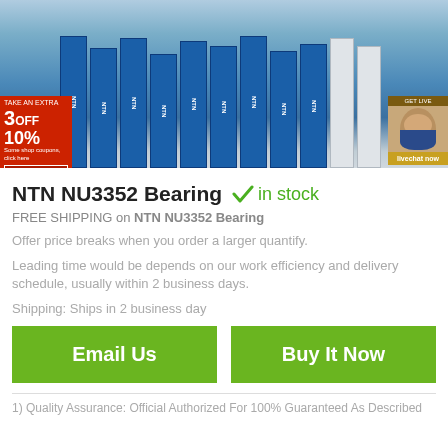[Figure (photo): Photo of stacked blue NTN bearing boxes on shelves in a warehouse]
NTN NU3352 Bearing ✓ in stock
FREE SHIPPING on NTN NU3352 Bearing
Offer price breaks when you order a larger quantify.
Leading time would be depends on our work efficiency and delivery schedule, usually within 2 business days.
Shipping: Ships in 2 business day
Email Us   Buy It Now
1) Quality Assurance: Official Authorized For 100% Guaranteed As Described